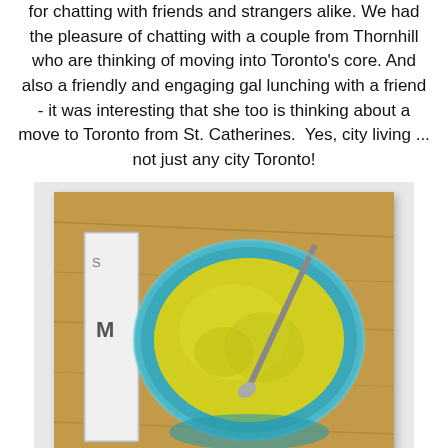for chatting with friends and strangers alike. We had the pleasure of chatting with a couple from Thornhill who are thinking of moving into Toronto's core. And also a friendly and engaging gal lunching with a friend - it was interesting that she too is thinking about a move to Toronto from St. Catherines.  Yes, city living ... not just any city Toronto!
[Figure (photo): A blue bowl filled with yellow-green broccoli squash soup, with a spoon resting in it, placed on a wooden surface next to what appears to be a book or magazine.]
I enjoyed the broccoli squash soup ...which was topped with cheese... so good that I almost forgot to capture a photo.
[Figure (photo): Partial view of another photo at the bottom of the page, cut off.]